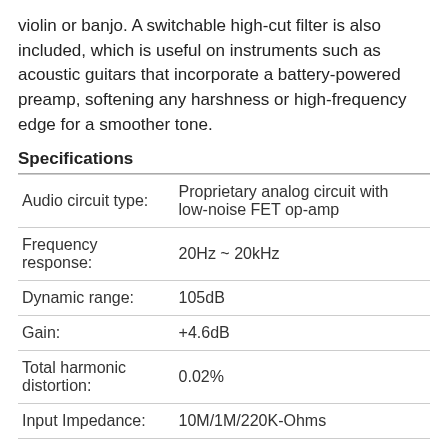violin or banjo. A switchable high-cut filter is also included, which is useful on instruments such as acoustic guitars that incorporate a battery-powered preamp, softening any harshness or high-frequency edge for a smoother tone.
Specifications
|  |  |
| --- | --- |
| Audio circuit type: | Proprietary analog circuit with low-noise FET op-amp |
| Frequency response: | 20Hz ~ 20kHz |
| Dynamic range: | 105dB |
| Gain: | +4.6dB |
| Total harmonic distortion: | 0.02% |
| Input Impedance: | 10M/1M/220K-Ohms |
| Output Impedance: | 200 Ohms – nominal |
| Equivalent Input Noise: | -98dBu |